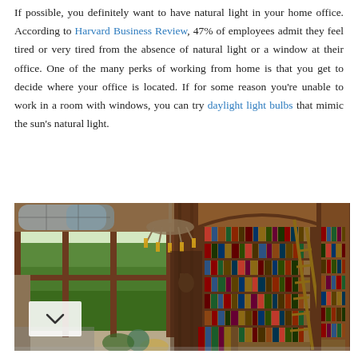If possible, you definitely want to have natural light in your home office. According to Harvard Business Review, 47% of employees admit they feel tired or very tired from the absence of natural light or a window at their office. One of the many perks of working from home is that you get to decide where your office is located. If for some reason you're unable to work in a room with windows, you can try daylight light bulbs that mimic the sun's natural light.
[Figure (photo): An elegant home library/office with large arched windows letting in natural light, floor-to-ceiling wooden bookshelves filled with books, a rolling library ladder, and a chandelier hanging from the ceiling.]